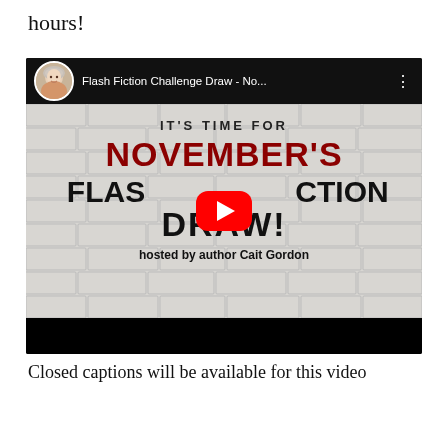hours!
[Figure (screenshot): YouTube video embed showing 'Flash Fiction Challenge Draw - No...' with a brick wall background displaying text: IT'S TIME FOR NOVEMBER'S FLASH FICTION DRAW! hosted by author Cait Gordon. Red YouTube play button in center. Avatar of a woman with short gray hair in top-left corner.]
Closed captions will be available for this video